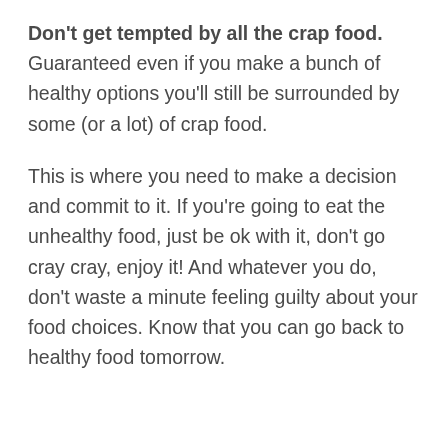Don't get tempted by all the crap food. Guaranteed even if you make a bunch of healthy options you'll still be surrounded by some (or a lot) of crap food.
This is where you need to make a decision and commit to it. If you're going to eat the unhealthy food, just be ok with it, don't go cray cray, enjoy it! And whatever you do, don't waste a minute feeling guilty about your food choices. Know that you can go back to healthy food tomorrow.